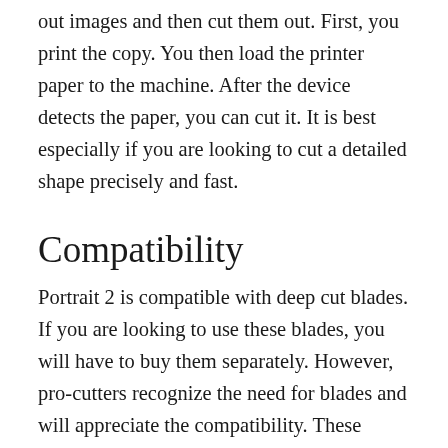out images and then cut them out. First, you print the copy. You then load the printer paper to the machine. After the device detects the paper, you can cut it. It is best especially if you are looking to cut a detailed shape precisely and fast.
Compatibility
Portrait 2 is compatible with deep cut blades. If you are looking to use these blades, you will have to buy them separately. However, pro-cutters recognize the need for blades and will appreciate the compatibility. These blades tend to present more cutting